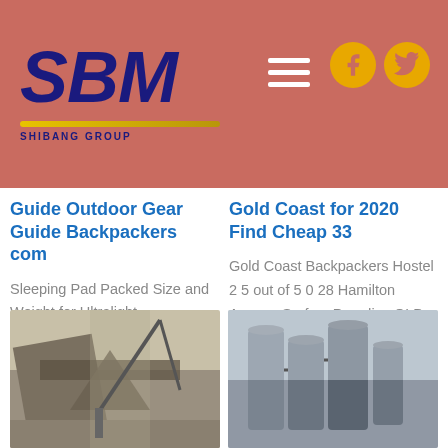[Figure (logo): SBM Shibang Group logo on red/terracotta header background with hamburger menu and social icons]
Guide Outdoor Gear Guide Backpackers com
Sleeping Pad Packed Size and Weight for Ultralight Backpackers In general Ultralight Backpackers will want
Gold Coast for 2020 Find Cheap 33
Gold Coast Backpackers Hostel 2 5 out of 5 0 28 Hamilton Avenue Surfers Paradise QLD
[Figure (photo): Industrial/mining outdoor equipment photo]
[Figure (photo): Industrial silos or storage tanks photo]